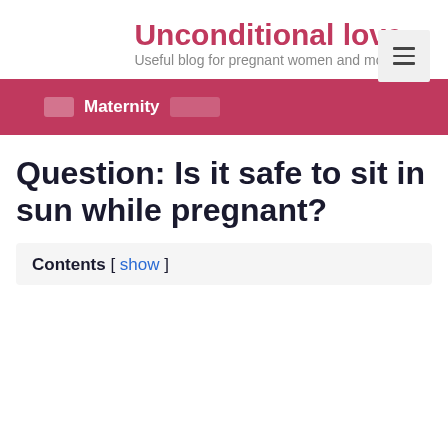Unconditional love
Useful blog for pregnant women and mo
Maternity
Question: Is it safe to sit in sun while pregnant?
Contents [ show ]